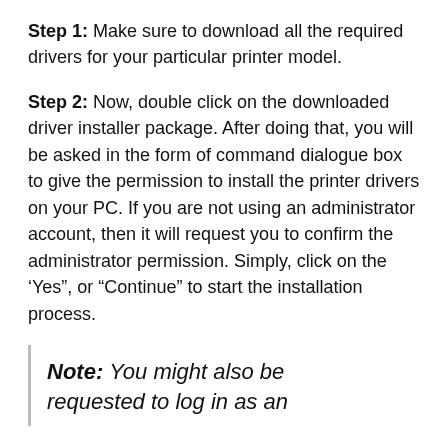Step 1: Make sure to download all the required drivers for your particular printer model.
Step 2: Now, double click on the downloaded driver installer package. After doing that, you will be asked in the form of command dialogue box to give the permission to install the printer drivers on your PC. If you are not using an administrator account, then it will request you to confirm the administrator permission. Simply, click on the ‘Yes”, or “Continue” to start the installation process.
Note: You might also be requested to log in as an